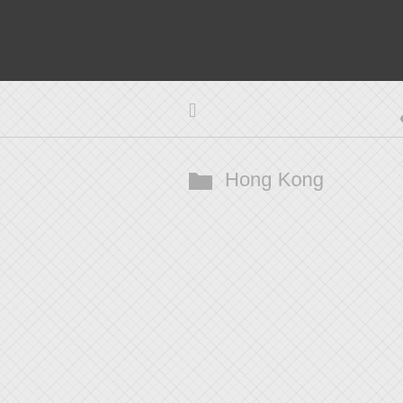[Figure (screenshot): Mobile web application screenshot showing a header navigation bar with yellow hamburger menu button, and content rows for 'admin' user and 'Hong Kong' location, with a partially visible right sidebar showing navigation menu items and yellow accent bars]
admin
Hong Kong
An
W
Fr
Ho
Ca
Ho
Ko
Li
lo
W
Fr